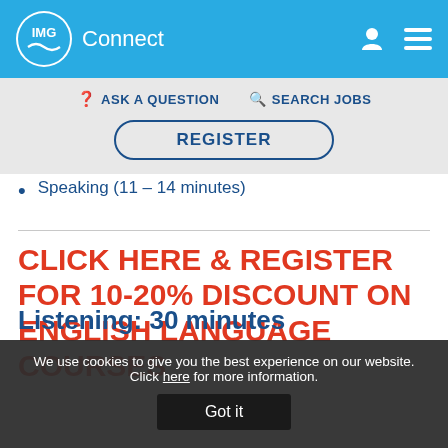IMG Connect
ASK A QUESTION   SEARCH JOBS
REGISTER
Speaking (11 – 14 minutes)
CLICK HERE & REGISTER FOR 10-20% DISCOUNT ON ENGLISH LANGUAGE COURSES
We use cookies to give you the best experience on our website. Click here for more information.
Got it
Listening: 30 minutes